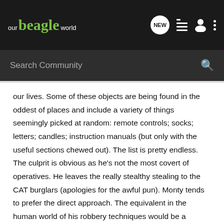our beagle world — NEW — [nav icons]
Search Community
our lives. Some of these objects are being found in the oddest of places and include a variety of things seemingly picked at random: remote controls; socks; letters; candles; instruction manuals (but only with the useful sections chewed out). The list is pretty endless. The culprit is obvious as he's not the most covert of operatives. He leaves the really stealthy stealing to the CAT burglars (apologies for the awful pun). Monty tends to prefer the direct approach. The equivalent in the human world of his robbery techniques would be a battering ram though the bank doors (that are automatic) followed by smash-and-grab approach, no masks, flicking the Vs at the security cameras before tumbling out with bank notes flying out of bulging, badly packed bags. There may even be a rebellious little pee up against the bank manager's leg. That's the kind of thief a beagle would make. No planning, no balaclavas, no blueprints of the grounds, no glass-cutting devices and certainly no panache. Just a whole lot of enthusiasm.